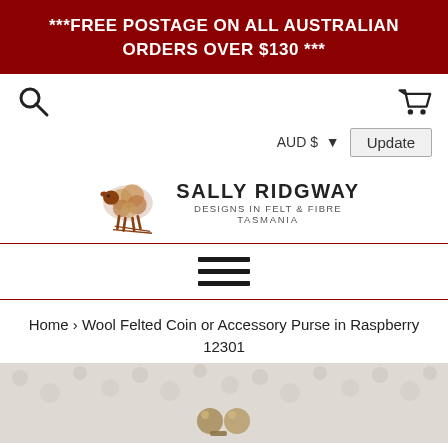***FREE POSTAGE ON ALL AUSTRALIAN ORDERS OVER $130 ***
[Figure (screenshot): Search icon (magnifying glass) on left, shopping cart icon on right, navigation bar icons]
AUD $  ▾   Update
[Figure (logo): Sally Ridgway Designs in Felt & Fibre Tasmania logo with sheep illustration]
[Figure (other): Hamburger menu icon with three horizontal bars]
Home › Wool Felted Coin or Accessory Purse in Raspberry 12301
[Figure (photo): Close-up of a felted wool purse clasp against a textured cream background]